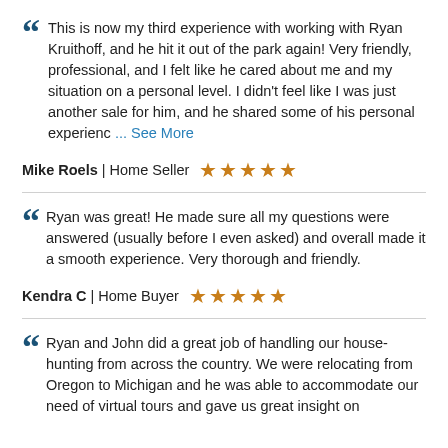This is now my third experience with working with Ryan Kruithoff, and he hit it out of the park again! Very friendly, professional, and I felt like he cared about me and my situation on a personal level. I didn't feel like I was just another sale for him, and he shared some of his personal experienc ... See More
Mike Roels | Home Seller ★★★★★
Ryan was great! He made sure all my questions were answered (usually before I even asked) and overall made it a smooth experience. Very thorough and friendly.
Kendra C | Home Buyer ★★★★★
Ryan and John did a great job of handling our house-hunting from across the country. We were relocating from Oregon to Michigan and he was able to accommodate our need of virtual tours and gave us great insight on